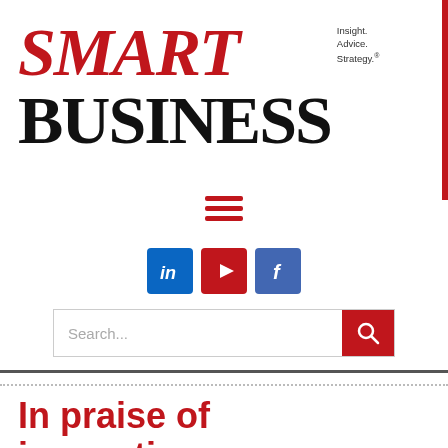[Figure (logo): Smart Business magazine logo with red italic SMART text, black BUSINESS text, and tagline: Insight. Advice. Strategy.]
[Figure (infographic): Red hamburger menu icon (three horizontal lines)]
[Figure (infographic): Social media icons: LinkedIn (blue), YouTube (red), Facebook (purple-blue)]
[Figure (infographic): Search bar with placeholder text 'Search...' and red search button]
In praise of innovation